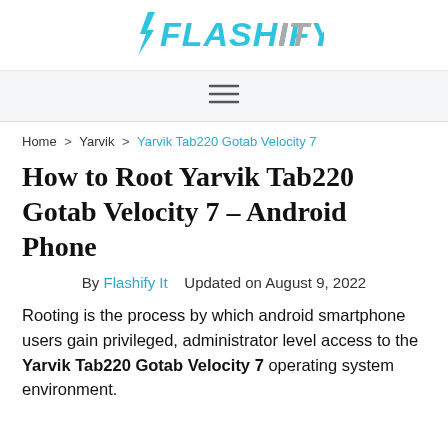FLASHIFY IT
≡ (navigation menu)
Home > Yarvik > Yarvik Tab220 Gotab Velocity 7
How to Root Yarvik Tab220 Gotab Velocity 7 – Android Phone
By Flashify It   Updated on August 9, 2022
Rooting is the process by which android smartphone users gain privileged, administrator level access to the Yarvik Tab220 Gotab Velocity 7 operating system environment.